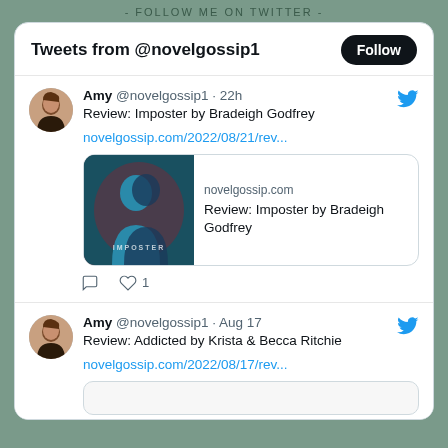- FOLLOW ME ON TWITTER -
Tweets from @novelgossip1
Amy @novelgossip1 · 22h
Review: Imposter by Bradeigh Godfrey
novelgossip.com/2022/08/21/rev...
novelgossip.com
Review: Imposter by Bradeigh Godfrey
Amy @novelgossip1 · Aug 17
Review: Addicted by Krista & Becca Ritchie
novelgossip.com/2022/08/17/rev...